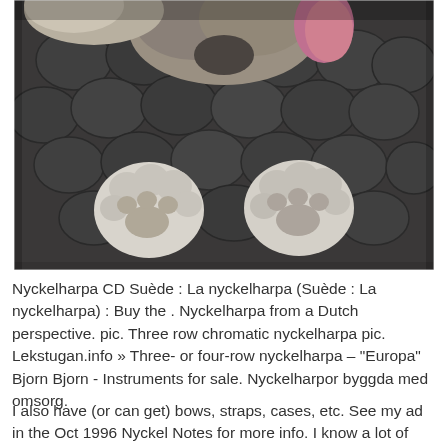[Figure (photo): Close-up photo of a dog's paws and lower snout/chin resting on a cobblestone or hexagonal paving surface. The image is in black and white / desaturated tones.]
Nyckelharpa CD Suède : La nyckelharpa (Suède : La nyckelharpa) : Buy the . Nyckelharpa from a Dutch perspective. pic. Three row chromatic nyckelharpa pic. Lekstugan.info » Three- or four-row nyckelharpa – "Europa" Bjorn Bjorn - Instruments for sale. Nyckelharpor byggda med omsorg.
I also have (or can get) bows, straps, cases, etc. See my ad in the Oct 1996 Nyckel Notes for more info. I know a lot of nyckelharpa players in Sweden